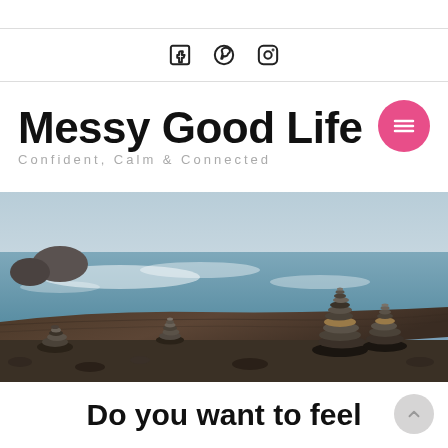Social icons: Facebook, Pinterest, Instagram
Messy Good Life
Confident, Calm & Connected
[Figure (photo): Stacked stone cairns on driftwood log with ocean waves and rocky shoreline in the background]
Do you want to feel